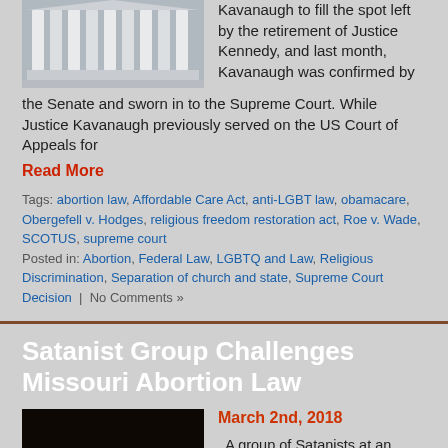Kavanaugh to fill the spot left by the retirement of Justice Kennedy, and last month, Kavanaugh was confirmed by the Senate and sworn in to the Supreme Court. While Justice Kavanaugh previously served on the US Court of Appeals for
Read More
Tags: abortion law, Affordable Care Act, anti-LGBT law, obamacare, Obergefell v. Hodges, religious freedom restoration act, Roe v. Wade, SCOTUS, supreme court
Posted in: Abortion, Federal Law, LGBTQ and Law, Religious Discrimination, Separation of church and state, Supreme Court Decision | No Comments »
Satanist Group Challenges Missouri Abortion Law
March 2nd, 2018
A group of Satanists at an organization called the Satanic Temple recently challenged a Missouri law that requires